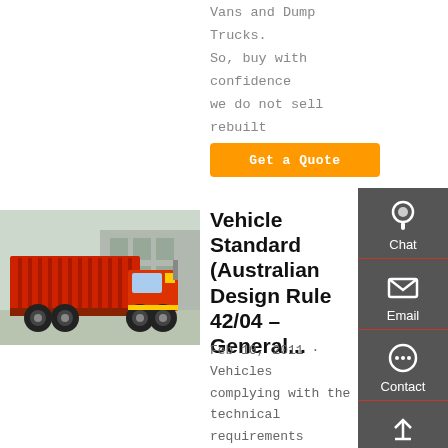Vans and Dump Trucks. So, buy with confidence we do not sell rebuilt or salvage
Get a Quote
[Figure (photo): Red dump truck parked in an industrial yard]
Vehicle Standard (Australian Design Rule 42/04 – General...
Feb 10, 2011 · Vehicles complying with the technical requirements of UNECE R 79 shall be deemed to comply with